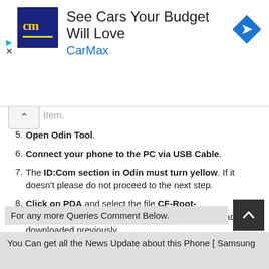[Figure (other): CarMax advertisement banner with logo, headline 'See Cars Your Budget Will Love', brand name 'CarMax', and a blue diamond navigation arrow icon]
Open Odin Tool.
Connect your phone to the PC via USB Cable.
The ID:Com section in Odin must turn yellow. If it doesn't please do not proceed to the next step.
Click on PDA and select the file CF-Root-SGN_XX_OXA_LPY-v5.3-CWM5.zip which you had downloaded previously.
Also check Auto Reboot and F.Reset Time in Odin.
Click on Start and your device running XXLPY firmware will be rooted and will have ClockworkMod Recovery installed.
For any more Queries Comment Below.
You Can get all the News Update about this Phone [ Samsung